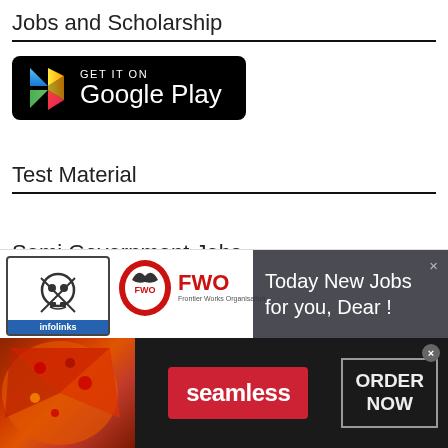Jobs and Scholarship
[Figure (logo): Google Play Store badge: black rounded rectangle with play button icon and text 'GET IT ON Google Play']
Test Material
Semi Government Jobs
[Figure (infographic): Ad bar: Infolinks logo with skull icon on left, FWO (Frontier Works Organization) logo and name in center, dark overlay panel on right reading 'Today New Jobs for you, Dear !' with close X]
[Figure (infographic): Seamless food delivery advertisement: pizza image on left, seamless brand name in red button center, ORDER NOW box on right, dark background, close button top right]